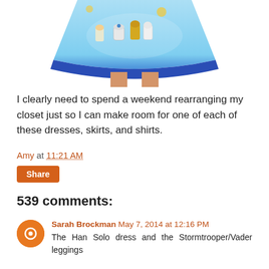[Figure (photo): Bottom half of a light blue Star Wars themed dress with blue hem border, showing a woman's legs below the skirt]
I clearly need to spend a weekend rearranging my closet just so I can make room for one of each of these dresses, skirts, and shirts.
Amy at 11:21 AM
Share
539 comments:
Sarah Brockman May 7, 2014 at 12:16 PM
The Han Solo dress and the Stormtrooper/Vader leggings